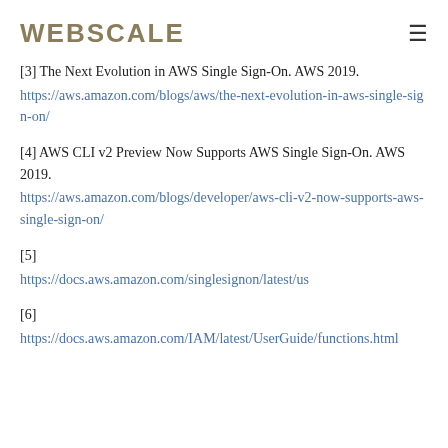WEBSCALE
[3] The Next Evolution in AWS Single Sign-On. AWS 2019. https://aws.amazon.com/blogs/aws/the-next-evolution-in-aws-single-sign-on/
[4] AWS CLI v2 Preview Now Supports AWS Single Sign-On. AWS 2019. https://aws.amazon.com/blogs/developer/aws-cli-v2-now-supports-aws-single-sign-on/
[5] https://docs.aws.amazon.com/singlesignon/latest/us
[6] https://docs.aws.amazon.com/IAM/latest/UserGuide/functions.html